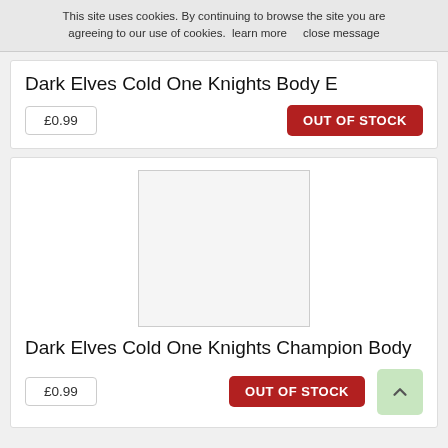This site uses cookies. By continuing to browse the site you are agreeing to our use of cookies.  learn more     close message
Dark Elves Cold One Knights Body E
£0.99
OUT OF STOCK
[Figure (photo): Product image placeholder (light grey rectangle)]
Dark Elves Cold One Knights Champion Body
£0.99
OUT OF STOCK